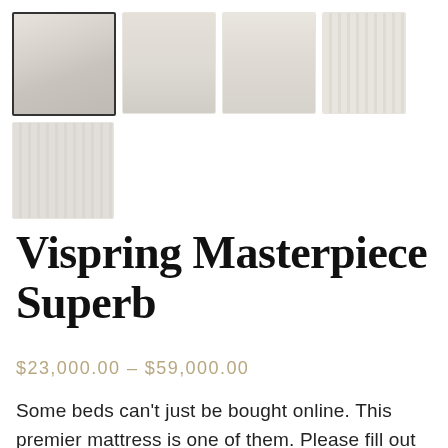[Figure (photo): Product image gallery showing 5 thumbnail images of the Vispring Masterpiece Superb mattress. Top row: main selected thumbnail (mattress on bed frame, highlighted with border), a bedroom scene with white bed, a curved sofa/daybed, and a close-up of vertical mattress tufting/slats. Bottom row: one image showing vertical mattress tufting/fabric detail.]
Vispring Masterpiece Superb
$23,000.00 – $59,000.00
Some beds can't just be bought online. This premier mattress is one of them. Please fill out the form and